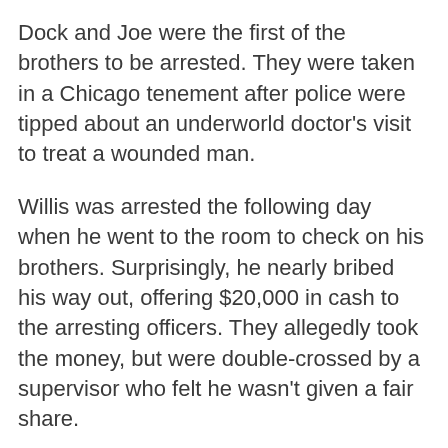Dock and Joe were the first of the brothers to be arrested. They were taken in a Chicago tenement after police were tipped about an underworld doctor's visit to treat a wounded man.
Willis was arrested the following day when he went to the room to check on his brothers. Surprisingly, he nearly bribed his way out, offering $20,000 in cash to the arresting officers. They allegedly took the money, but were double-crossed by a supervisor who felt he wasn't given a fair share.
With Dock, Willis, and Joe in custody, Glasscock hid the bulk of the money and went into hiding, while Jess headed south to the safety of his home state of Texas with $35,000.